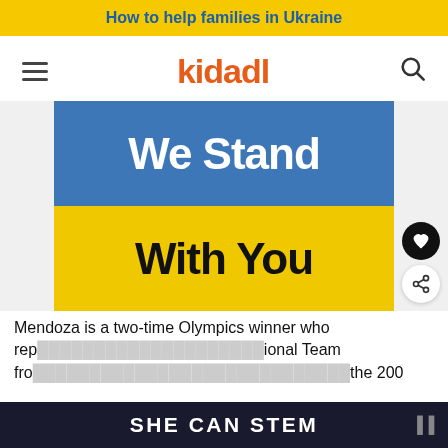How to help families in Ukraine
[Figure (logo): Kidadl logo with hamburger menu and search icon navigation bar]
[Figure (illustration): Ukrainian flag colored banner reading 'We Stand With You' — blue top half with white bold text 'We Stand', yellow bottom half with black bold text 'With You']
Mendoza is a two-time Olympics winner who rep ional Team fro the 200
SHE CAN STEM